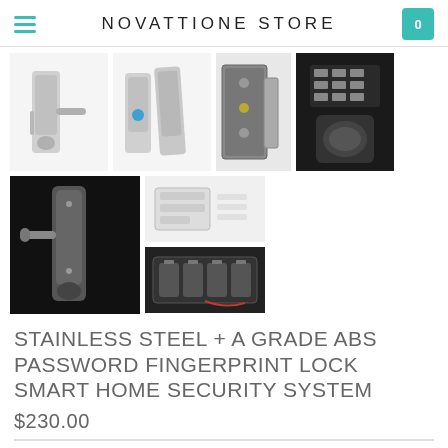NOVATTIONE STORE
[Figure (photo): Six product photos of a stainless steel fingerprint/password door lock smart home security system, showing the lock handle from various angles, internal mechanism, keypad close-up, and battery compartment.]
STAINLESS STEEL + A GRADE ABS PASSWORD FINGERPRINT LOCK SMART HOME SECURITY SYSTEM
$230.00